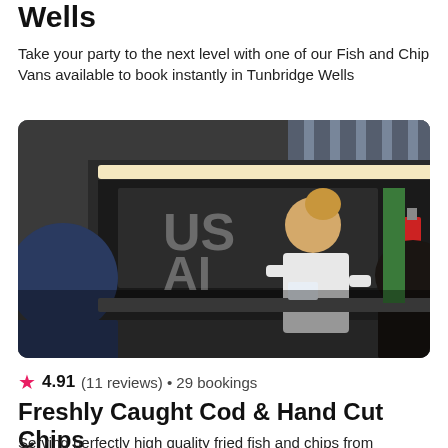Wells
Take your party to the next level with one of our Fish and Chip Vans available to book instantly in Tunbridge Wells
[Figure (photo): A woman in white working at a fish and chip van food stall, with customers queuing in front, outdoor setting with striped awning visible]
★ 4.91 (11 reviews) • 29 bookings
Freshly Caught Cod & Hand Cut Chips
Serving perfectly high quality fried fish and chips from